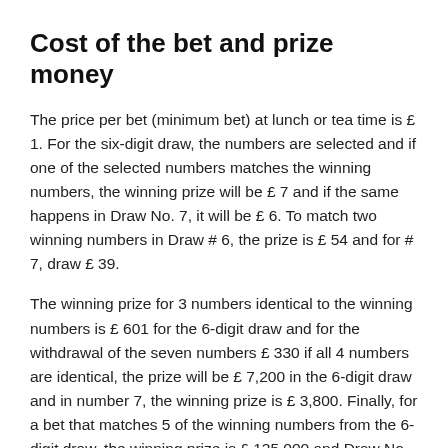Cost of the bet and prize money
The price per bet (minimum bet) at lunch or tea time is £ 1. For the six-digit draw, the numbers are selected and if one of the selected numbers matches the winning numbers, the winning prize will be £ 7 and if the same happens in Draw No. 7, it will be £ 6. To match two winning numbers in Draw # 6, the prize is £ 54 and for # 7, draw £ 39.
The winning prize for 3 numbers identical to the winning numbers is £ 601 for the 6-digit draw and for the withdrawal of the seven numbers £ 330 if all 4 numbers are identical, the prize will be £ 7,200 in the 6-digit draw and in number 7, the winning prize is £ 3,800. Finally, for a bet that matches 5 of the winning numbers from the 6-digit draw, the winning prize is £ 125,000 and Draw No. 7